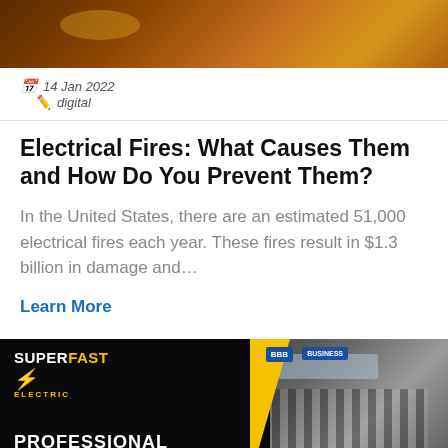[Figure (photo): Close-up photo of electrical components, circuit board or wiring with warm brown/orange tones]
14 Jan 2022   digital
Electrical Fires: What Causes Them and How Do You Prevent Them?
In the United States, there are an estimated 51,000 electrical fires each year. These fires result in $1.3 billion in damage and…
Learn More
[Figure (photo): SuperFast Electric advertisement banner showing logo with lightning bolt, BBB Business badge, and text PROFESSIONAL ELECTRICIANS in yellow, with image of electrical panel on right side]